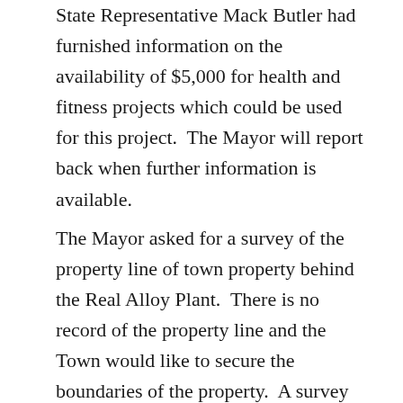State Representative Mack Butler had furnished information on the availability of $5,000 for health and fitness projects which could be used for this project.  The Mayor will report back when further information is available.
The Mayor asked for a survey of the property line of town property behind the Real Alloy Plant.  There is no record of the property line and the Town would like to secure the boundaries of the property.  A survey for one property line would be $600-$800. Councilmember Barnes made a motion to have the